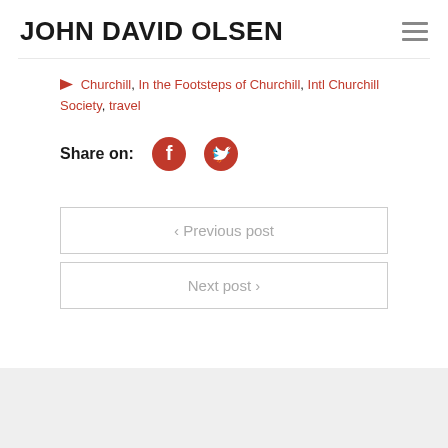JOHN DAVID OLSEN
Churchill, In the Footsteps of Churchill, Intl Churchill Society, travel
Share on:
‹ Previous post
Next post ›